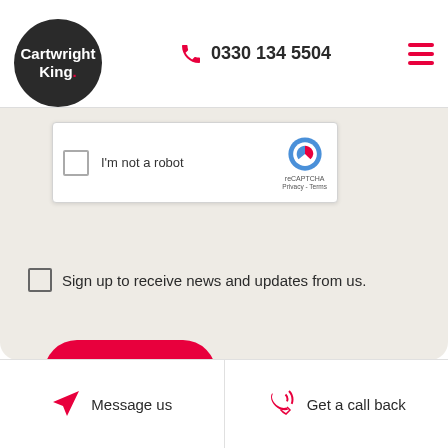[Figure (logo): Cartwright King logo in dark circle with red dot]
0330 134 5504
[Figure (other): reCAPTCHA widget with checkbox 'I'm not a robot']
Sign up to receive news and updates from us.
[Figure (other): Submit button (pink/red rounded rectangle)]
Message us   Get a call back